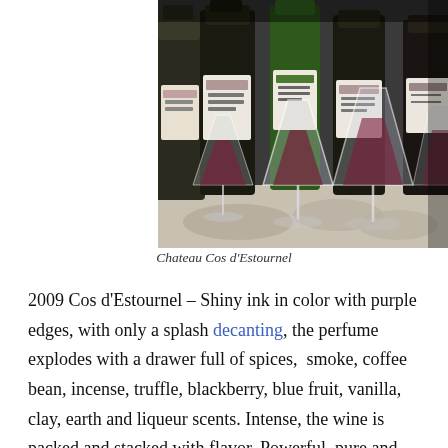[Figure (photo): Photo of wine bottles and wine glasses (martini-style) arranged on a table, with multiple dark wine bottles in background and glasses in foreground. Labels partially visible including Cos d'Estournel.]
Chateau Cos d'Estournel
2009 Cos d'Estournel – Shiny ink in color with purple edges, with only a splash decanting, the perfume explodes with a drawer full of spices,  smoke, coffee bean, incense, truffle, blackberry, blue fruit, vanilla, clay, earth and liqueur scents. Intense, the wine is packed and stacked with flavor. Powerful, pure and mouth filling, the wine coats your palate with layers